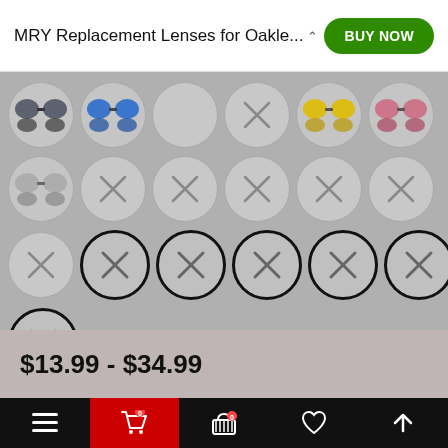MRY Replacement Lenses for Oakle...
[Figure (screenshot): Product color/style selector grid showing various sunglass lens color options as circular swatches. Row 1: dark grey lenses swatch, blue lenses swatch, empty/unavailable swatch, crossed-out unavailable swatch, yellow lenses swatch, pink/rose lenses swatch. Row 2: silver/chrome lenses swatch, then 5 crossed-out unavailable swatches. Row 3: 1 unavailable swatch (thin border), then 5 unavailable swatches with thick black borders. Row 4: 1 swatch with thick black border.]
$13.99 - $34.99
Navigation bar with menu, cart (0), basket, heart, and up arrow icons